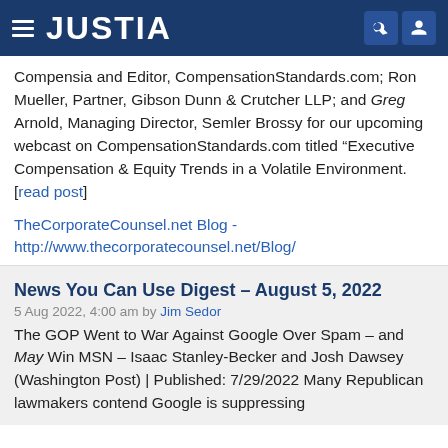JUSTIA
Compensia and Editor, CompensationStandards.com; Ron Mueller, Partner, Gibson Dunn & Crutcher LLP; and Greg Arnold, Managing Director, Semler Brossy for our upcoming webcast on CompensationStandards.com titled “Executive Compensation & Equity Trends in a Volatile Environment. [read post]
TheCorporateCounsel.net Blog - http://www.thecorporatecounsel.net/Blog/
News You Can Use Digest – August 5, 2022
5 Aug 2022, 4:00 am by Jim Sedor
The GOP Went to War Against Google Over Spam – and May Win MSN – Isaac Stanley-Becker and Josh Dawsey (Washington Post) | Published: 7/29/2022 Many Republican lawmakers contend Google is suppressing